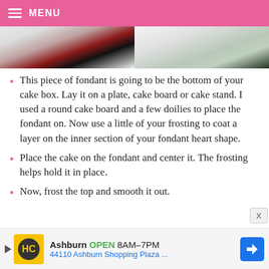MENU
[Figure (photo): Two food/cake images side by side — left shows red and dark chocolate layers on white background, right shows a cake on a doily]
This piece of fondant is going to be the bottom of your cake box. Lay it on a plate, cake board or cake stand. I used a round cake board and a few doilies to place the fondant on. Now use a little of your frosting to coat a layer on the inner section of your fondant heart shape.
Place the cake on the fondant and center it. The frosting helps hold it in place.
Now, frost the top and smooth it out.
[Figure (screenshot): Advertisement: HC logo, Ashburn OPEN 8AM-7PM, 44110 Ashburn Shopping Plaza, with navigation arrow icon]